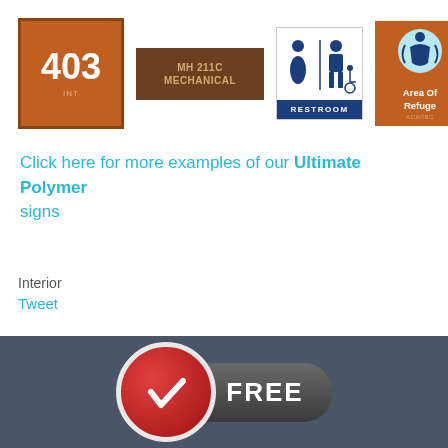[Figure (infographic): Four interior signs: 403 room number sign (orange), MH 211C Mechanical sign (brown), Restroom sign with male/female/wheelchair icons and blue label, Area of Refuge sign (orange with icon)]
Click here for more examples of our Ultimate Polymer signs
Interior
Tweet
[Figure (infographic): Bottom dark gray section with a red circle checkmark badge and a FREE button in dark gray pill shape]